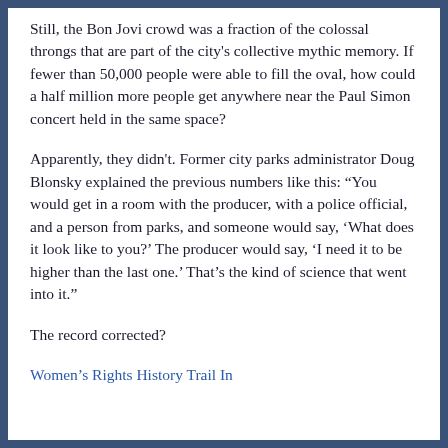Still, the Bon Jovi crowd was a fraction of the colossal throngs that are part of the city's collective mythic memory. If fewer than 50,000 people were able to fill the oval, how could a half million more people get anywhere near the Paul Simon concert held in the same space?
Apparently, they didn't. Former city parks administrator Doug Blonsky explained the previous numbers like this: “You would get in a room with the producer, with a police official, and a person from parks, and someone would say, ‘What does it look like to you?’ The producer would say, ‘I need it to be higher than the last one.’ That’s the kind of science that went into it.”
The record corrected?
Women’s Rights History Trail In